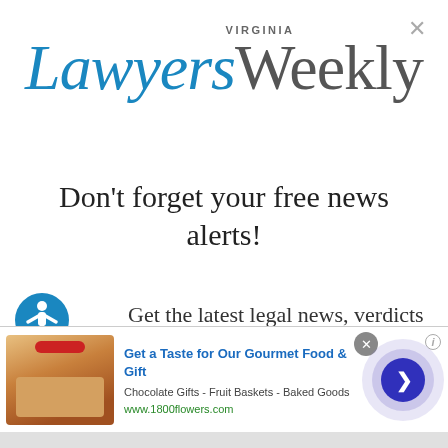[Figure (logo): Virginia Lawyers Weekly logo — 'Virginia' in small gray caps, 'Lawyers' in large blue italic serif, 'Weekly' in large gray serif]
Don't forget your free news alerts!
[Figure (illustration): Blue circular accessibility icon (person with raised arm)]
Get the latest legal news, verdicts
[Figure (infographic): Advertisement banner: 'Get a Taste for Our Gourmet Food & Gift' from 1800flowers.com — Chocolate Gifts, Fruit Baskets, Baked Goods — with food basket image and arrow button]
Enter your email here...
SIGN UP FOR FREE